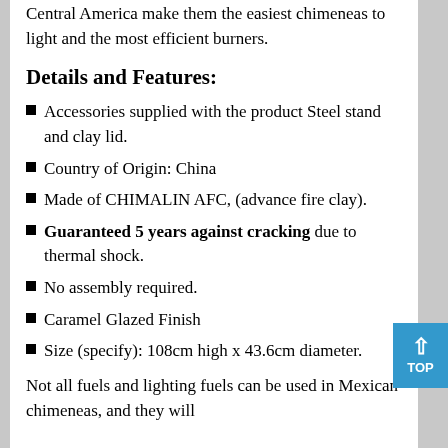Central America make them the easiest chimeneas to light and the most efficient burners.
Details and Features:
Accessories supplied with the product Steel stand and clay lid.
Country of Origin: China
Made of CHIMALIN AFC, (advance fire clay).
Guaranteed 5 years against cracking due to thermal shock.
No assembly required.
Caramel Glazed Finish
Size (specify): 108cm high x 43.6cm diameter.
Not all fuels and lighting fuels can be used in Mexican chimeneas, and they will